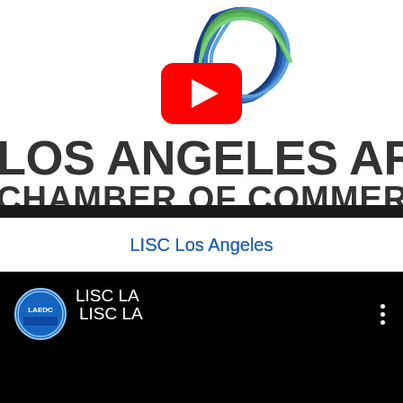[Figure (screenshot): Los Angeles Area Chamber of Commerce YouTube channel page screenshot showing globe logo, YouTube play button, channel name text, divider bar, LISC Los Angeles link, and LISC LA channel row with LAEDC logo on black background]
LISC Los Angeles
LISC LA